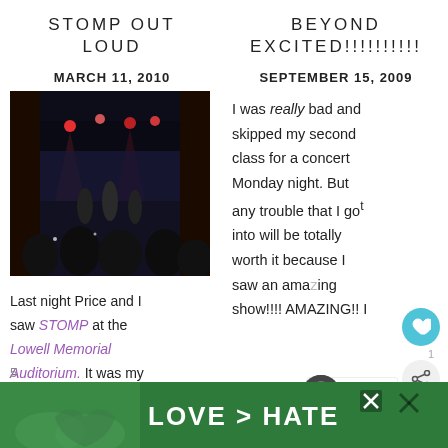STOMP OUT LOUD
BEYOND EXCITED!!!!!!!!!
MARCH 11, 2010
SEPTEMBER 15, 2009
[Figure (photo): Concert photo taken from audience showing a colorful stage with performers and stage lighting in a dark auditorium]
Last night Price and I saw STOMP at the Lowell Memorial Auditorium. It was my
I was really bad and skipped my second class for a concert Monday night. But any trouble that I got into will be totally worth it because I saw an amazing show!!!! AMAZING!! I
[Figure (infographic): Advertisement banner showing hands making a heart shape with text LOVE > HATE on green background]